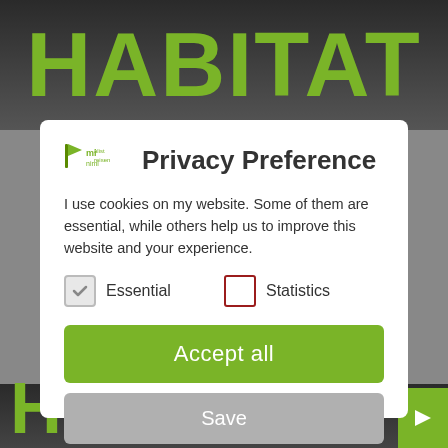[Figure (photo): HABITAT store sign in green letters on dark background]
[Figure (screenshot): Privacy Preference modal dialog with logo, checkboxes for Essential and Statistics, Accept all button, Save button, and privacy links]
Privacy Preference
I use cookies on my website. Some of them are essential, while others help us to improve this website and your experience.
Essential (checked)
Statistics (unchecked)
Accept all
Save
Individual Privacy Preferences
Cookie Details | Privacy Policy | Imprint